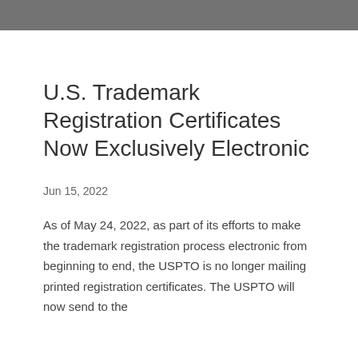U.S. Trademark Registration Certificates Now Exclusively Electronic
Jun 15, 2022
As of May 24, 2022, as part of its efforts to make the trademark registration process electronic from beginning to end, the USPTO is no longer mailing printed registration certificates. The USPTO will now send to the